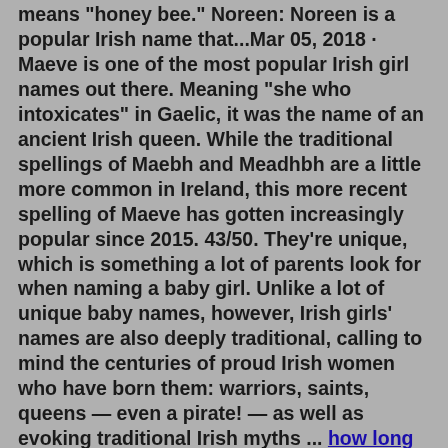means "honey bee." Noreen: Noreen is a popular Irish name that...Mar 05, 2018 · Maeve is one of the most popular Irish girl names out there. Meaning "she who intoxicates" in Gaelic, it was the name of an ancient Irish queen. While the traditional spellings of Maebh and Meadhbh are a little more common in Ireland, this more recent spelling of Maeve has gotten increasingly popular since 2015. 43/50. They're unique, which is something a lot of parents look for when naming a baby girl. Unlike a lot of unique baby names, however, Irish girls' names are also deeply traditional, calling to mind the centuries of proud Irish women who have born them: warriors, saints, queens — even a pirate! — as well as evoking traditional Irish myths ... how long does it take to get a court date in family court Irish (Gaeilge) name generator for male and female characters. Millions of combinations are possible, you're bound to find one you like. While both genders share the same last names, they have different prefixes with different meanings. The men either have 'Ó' or 'Mac' Aug 24